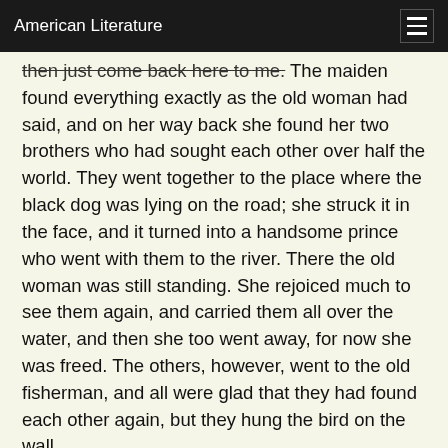American Literature
then just come back here to me. The maiden found everything exactly as the old woman had said, and on her way back she found her two brothers who had sought each other over half the world. They went together to the place where the black dog was lying on the road; she struck it in the face, and it turned into a handsome prince who went with them to the river. There the old woman was still standing. She rejoiced much to see them again, and carried them all over the water, and then she too went away, for now she was freed. The others, however, went to the old fisherman, and all were glad that they had found each other again, but they hung the bird on the wall.